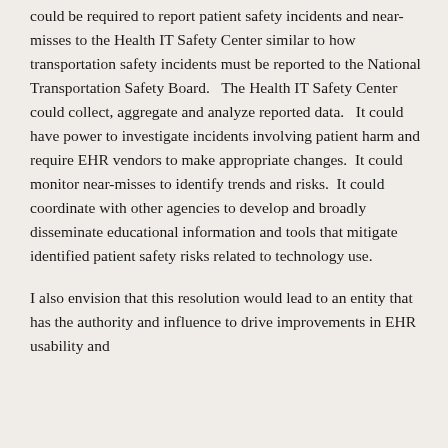could be required to report patient safety incidents and near-misses to the Health IT Safety Center similar to how transportation safety incidents must be reported to the National Transportation Safety Board.   The Health IT Safety Center could collect, aggregate and analyze reported data.   It could have power to investigate incidents involving patient harm and require EHR vendors to make appropriate changes.  It could monitor near-misses to identify trends and risks.  It could coordinate with other agencies to develop and broadly disseminate educational information and tools that mitigate identified patient safety risks related to technology use.
I also envision that this resolution would lead to an entity that has the authority and influence to drive improvements in EHR usability and